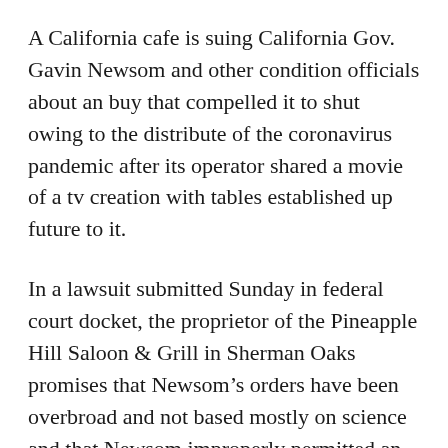A California cafe is suing California Gov. Gavin Newsom and other condition officials about an buy that compelled it to shut owing to the distribute of the coronavirus pandemic after its operator shared a movie of a tv creation with tables established up future to it.
In a lawsuit submitted Sunday in federal court docket, the proprietor of the Pineapple Hill Saloon & Grill in Sherman Oaks promises that Newsom’s orders have been overbroad and not based mostly on science and that Newsom improperly permitted an unelected Point out General public Well being Officer to identify which enterprises can keep open and which need to near without the need of legislative enter.